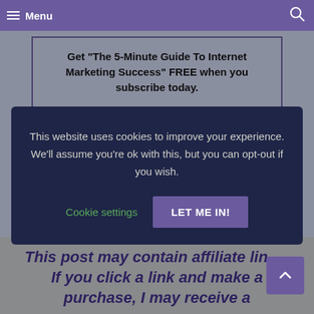Menu
Get "The 5-Minute Guide To Internet Marketing Success" FREE when you subscribe today.
You will be subscribed to my weekly newsletter of help for new bloggers. I will not spam you.
This website uses cookies to improve your experience. We'll assume you're ok with this, but you can opt-out if you wish.
Cookie settings
LET ME IN!
This post may contain affiliate lin... If you click a link and make a purchase, I may receive a